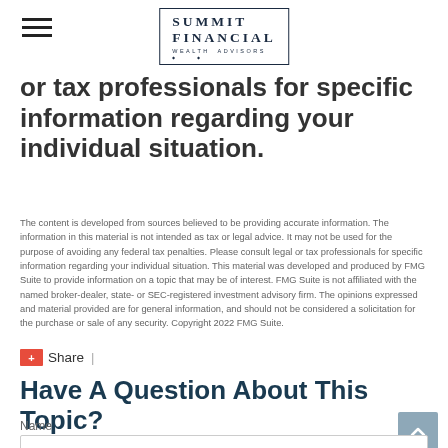SUMMIT FINANCIAL WEALTH ADVISORS
or tax professionals for specific information regarding your individual situation.
The content is developed from sources believed to be providing accurate information. The information in this material is not intended as tax or legal advice. It may not be used for the purpose of avoiding any federal tax penalties. Please consult legal or tax professionals for specific information regarding your individual situation. This material was developed and produced by FMG Suite to provide information on a topic that may be of interest. FMG Suite is not affiliated with the named broker-dealer, state- or SEC-registered investment advisory firm. The opinions expressed and material provided are for general information, and should not be considered a solicitation for the purchase or sale of any security. Copyright 2022 FMG Suite.
+ Share  |
Have A Question About This Topic?
Name